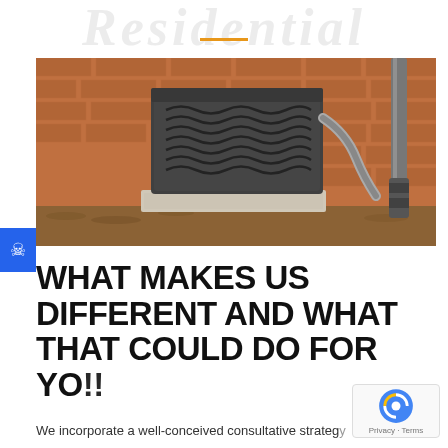Residential
[Figure (photo): Outdoor HVAC air conditioning unit on a concrete slab against a brick wall with mulch ground cover and a metal downspout]
WHAT MAKES US DIFFERENT AND WHAT THAT COULD DO FOR YOU!!
We incorporate a well-conceived consultative strategy